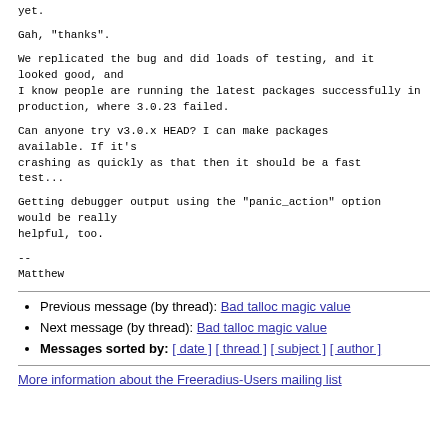yet.
Gah, "thanks".
We replicated the bug and did loads of testing, and it looked good, and
I know people are running the latest packages successfully in
production, where 3.0.23 failed.
Can anyone try v3.0.x HEAD? I can make packages available. If it's
crashing as quickly as that then it should be a fast test...
Getting debugger output using the "panic_action" option would be really
helpful, too.
--
Matthew
Previous message (by thread): Bad talloc magic value
Next message (by thread): Bad talloc magic value
Messages sorted by: [ date ] [ thread ] [ subject ] [ author ]
More information about the Freeradius-Users mailing list